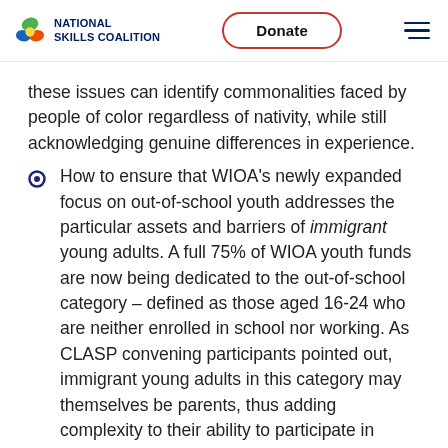National Skills Coalition — Donate
these issues can identify commonalities faced by people of color regardless of nativity, while still acknowledging genuine differences in experience.
How to ensure that WIOA’s newly expanded focus on out-of-school youth addresses the particular assets and barriers of immigrant young adults. A full 75% of WIOA youth funds are now being dedicated to the out-of-school category – defined as those aged 16-24 who are neither enrolled in school nor working. As CLASP convening participants pointed out, immigrant young adults in this category may themselves be parents, thus adding complexity to their ability to participate in training programs and urgency to their need for family-sustaining employment.